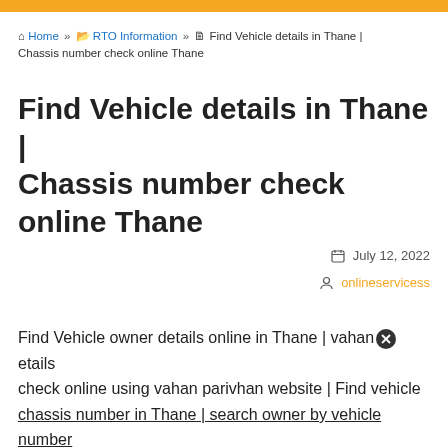Home » RTO Information » Find Vehicle details in Thane | Chassis number check online Thane
Find Vehicle details in Thane | Chassis number check online Thane
July 12, 2022
onlineservicess
Find Vehicle owner details online in Thane | vahan details check online using vahan parivhan website | Find vehicle chassis number in Thane | search owner by vehicle number plate